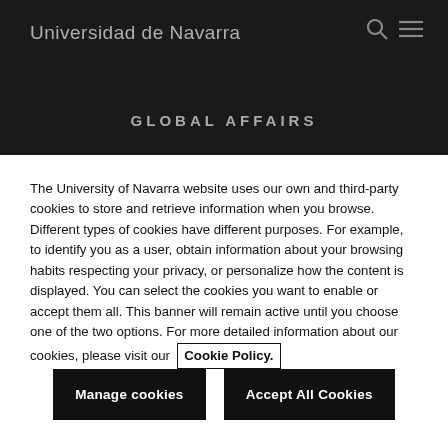Universidad de Navarra
GLOBAL AFFAIRS
The University of Navarra website uses our own and third-party cookies to store and retrieve information when you browse. Different types of cookies have different purposes. For example, to identify you as a user, obtain information about your browsing habits respecting your privacy, or personalize how the content is displayed. You can select the cookies you want to enable or accept them all. This banner will remain active until you choose one of the two options. For more detailed information about our cookies, please visit our Cookie Policy.
Manage cookies
Accept All Cookies